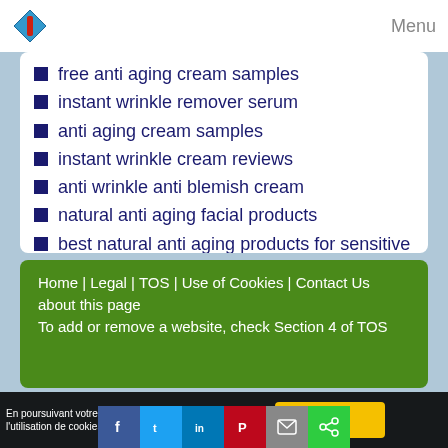Menu
free anti aging cream samples
instant wrinkle remover serum
anti aging cream samples
instant wrinkle cream reviews
anti wrinkle anti blemish cream
natural anti aging facial products
best natural anti aging products for sensitive skin
Home | Legal | TOS | Use of Cookies | Contact Us about this page
To add or remove a website, check Section 4 of TOS
En poursuivant votre navigation sur ce site, vous acceptez l'utilisation de cookies pour vous proposer des contenus et